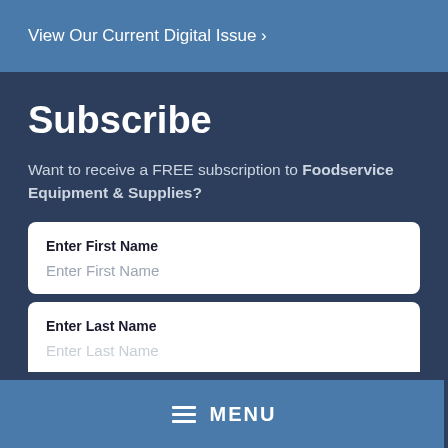View Our Current Digital Issue ›
Subscribe
Want to receive a FREE subscription to Foodservice Equipment & Supplies?
Enter First Name
Enter Last Name
≡ MENU